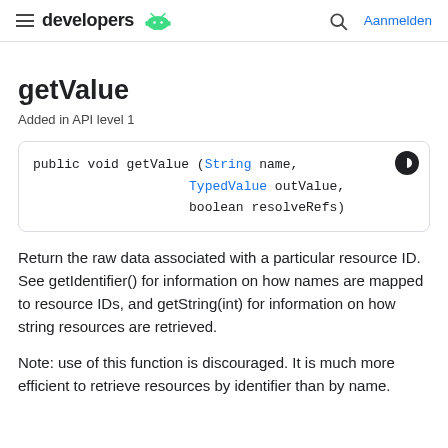developers | Aanmelden
getValue
Added in API level 1
Return the raw data associated with a particular resource ID. See getIdentifier() for information on how names are mapped to resource IDs, and getString(int) for information on how string resources are retrieved.
Note: use of this function is discouraged. It is much more efficient to retrieve resources by identifier than by name.